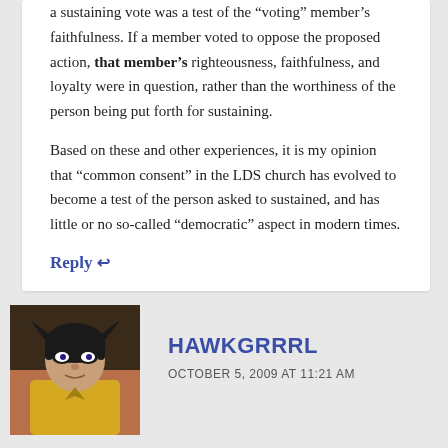a sustaining vote was a test of the “voting” member’s faithfulness. If a member voted to oppose the proposed action, that member’s righteousness, faithfulness, and loyalty were in question, rather than the worthiness of the person being put forth for sustaining.
Based on these and other experiences, it is my opinion that “common consent” in the LDS church has evolved to become a test of the person asked to sustained, and has little or no so-called “democratic” aspect in modern times.
Reply ↩
[Figure (illustration): Avatar image of a cartoon superhero character resembling a hawk/bird-themed female superhero with black mask and yellow costume]
HAWKGRRRL
OCTOBER 5, 2009 AT 11:21 AM